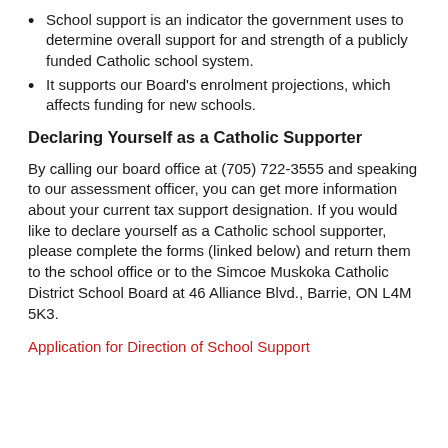School support is an indicator the government uses to determine overall support for and strength of a publicly funded Catholic school system.
It supports our Board's enrolment projections, which affects funding for new schools.
Declaring Yourself as a Catholic Supporter
By calling our board office at (705) 722-3555 and speaking to our assessment officer, you can get more information about your current tax support designation. If you would like to declare yourself as a Catholic school supporter, please complete the forms (linked below) and return them to the school office or to the Simcoe Muskoka Catholic District School Board at 46 Alliance Blvd., Barrie, ON L4M 5K3.
Application for Direction of School Support